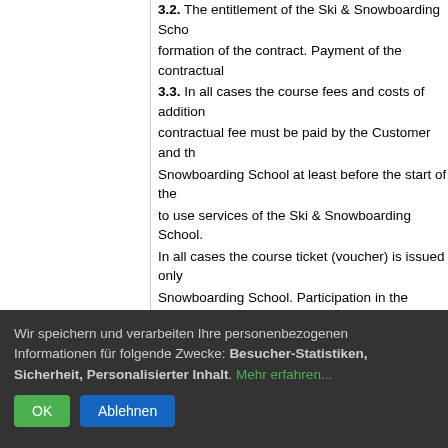3.2. The entitlement of the Ski & Snowboarding School formation of the contract. Payment of the contractual 3.3. In all cases the course fees and costs of additional contractual fee must be paid by the Customer and the Snowboarding School at least before the start of the to use services of the Ski & Snowboarding School. In all cases the course ticket (voucher) is issued only Snowboarding School. Participation in the lessons is 3.4. If no other written agreements have been made least 50% of the invoice total must be made by the Customer order confirmation for contracts that have been formed medium and that concern the individual and group co. This advance payment must arrive in the account of days before the start of the service provision.
Wir speichern und verarbeiten Ihre personenbezogenen Informationen für folgende Zwecke: Besucher-Statistiken, Sicherheit, Personalisierter Inhalt. Mehr erfahren...